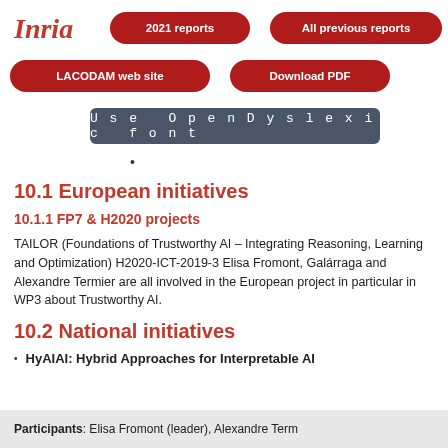[Figure (logo): Inria logo in red italic script]
2021 reports | All previous reports | LACODAM web site | Download PDF | Use OpenDyslexic font
10.1 European initiatives
10.1.1 FP7 & H2020 projects
TAILOR (Foundations of Trustworthy AI – Integrating Reasoning, Learning and Optimization) H2020-ICT-2019-3 Elisa Fromont, Galárraga and Alexandre Termier are all involved in the European project in particular in WP3 about Trustworthy AI.
10.2 National initiatives
HyAIAI: Hybrid Approaches for Interpretable AI
Participants: Elisa Fromont (leader), Alexandre Term